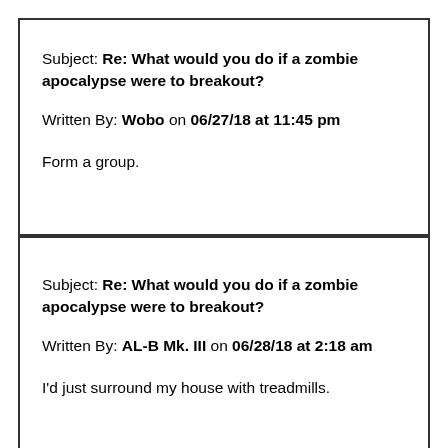Subject: Re: What would you do if a zombie apocalypse were to breakout?
Written By: Wobo on 06/27/18 at 11:45 pm
Form a group.
Subject: Re: What would you do if a zombie apocalypse were to breakout?
Written By: AL-B Mk. III on 06/28/18 at 2:18 am
I'd just surround my house with treadmills.